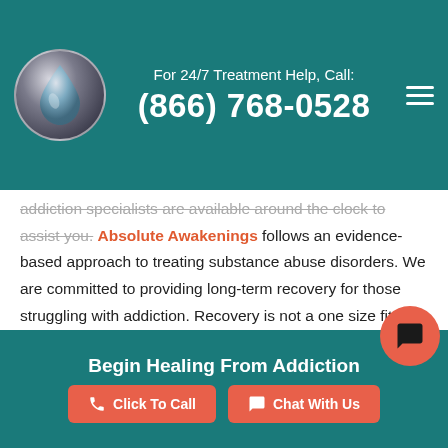For 24/7 Treatment Help, Call: (866) 768-0528
addiction specialists are available around the clock to assist you. Absolute Awakenings follows an evidence-based approach to treating substance abuse disorders. We are committed to providing long-term recovery for those struggling with addiction. Recovery is not a one size fits all approach, so every person that walks through our doors is provided with a unique and individualized experience. Our recovery specialists are waiting to assist you. Call us today!
[Figure (photo): Partial view of an image, warm toned background suggesting a therapeutic or calming environment]
Begin Healing From Addiction
Click To Call
Chat With Us